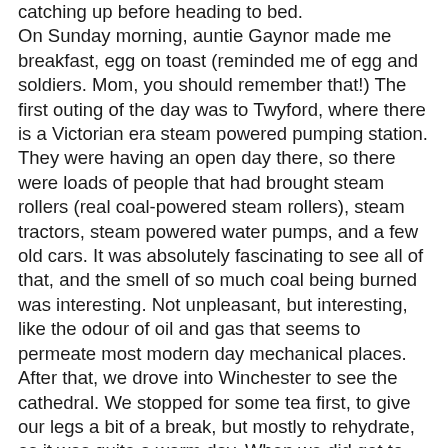catching up before heading to bed. On Sunday morning, auntie Gaynor made me breakfast, egg on toast (reminded me of egg and soldiers. Mom, you should remember that!) The first outing of the day was to Twyford, where there is a Victorian era steam powered pumping station. They were having an open day there, so there were loads of people that had brought steam rollers (real coal-powered steam rollers), steam tractors, steam powered water pumps, and a few old cars. It was absolutely fascinating to see all of that, and the smell of so much coal being burned was interesting. Not unpleasant, but interesting, like the odour of oil and gas that seems to permeate most modern day mechanical places. After that, we drove into Winchester to see the cathedral. We stopped for some tea first, to give our legs a bit of a break, but mostly to rehydrate, as it was quite a warm day. When we did get to the cathedral, I was in awe! What a mammoth building! In this era of 50+ floor metal and glass skyscrapers, it's hard to imagine how something "only" 3 floors high can seem so massive, but the sheer amount of stone, and the enormous gaping caverns of rooms inside just overwhelm the senses. We spent an hour or so wandering through the